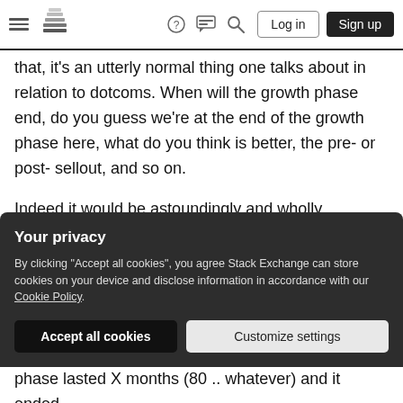Stack Exchange navigation bar with hamburger menu, logo, help, chat, search icons, Log in and Sign up buttons
that, it's an utterly normal thing one talks about in relation to dotcoms. When will the growth phase end, do you guess we're at the end of the growth phase here, what do you think is better, the pre- or post- sellout, and so on.
Indeed it would be astoundingly and wholly remarkable if, SE was the known universe's first dotcom, where, the growth phase has not ended. SO's "run" before the growth phase ended (what was it - 6 years? the wholly useless charts above do
Your privacy
By clicking "Accept all cookies", you agree Stack Exchange can store cookies on your device and disclose information in accordance with our Cookie Policy.
Accept all cookies
Customize settings
phase lasted X months (80 .. whatever) and it ended